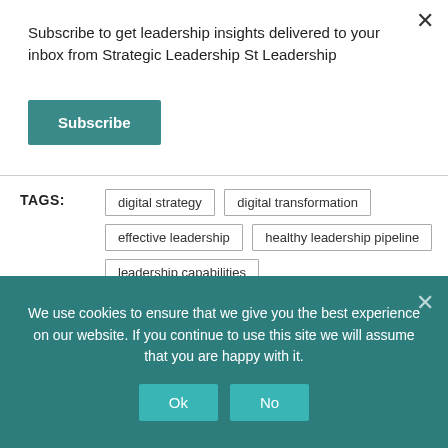Subscribe to get leadership insights delivered to your inbox from Strategic Leadership St Leadership
Subscribe
TAGS:
digital strategy
digital transformation
effective leadership
healthy leadership pipeline
leadership capabilities
SHARE:
Privacy & Cookies: This site uses cookies. By continuing to use this
We use cookies to ensure that we give you the best experience on our website. If you continue to use this site we will assume that you are happy with it.
Ok
No